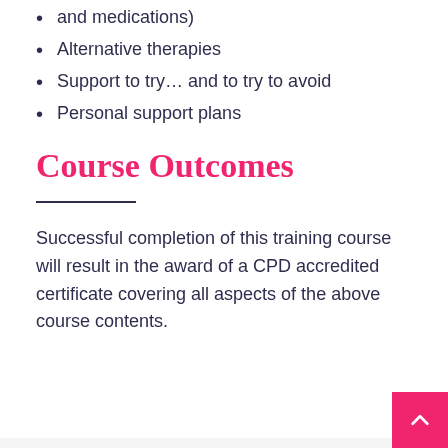and medications)
Alternative therapies
Support to try… and to try to avoid
Personal support plans
Course Outcomes
Successful completion of this training course will result in the award of a CPD accredited certificate covering all aspects of the above course contents.